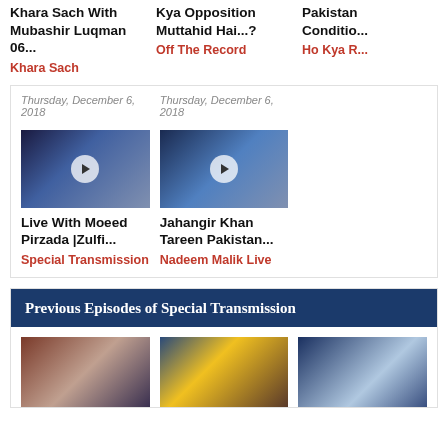Khara Sach With Mubashir Luqman 06...
Khara Sach
Kya Opposition Muttahid Hai...?
Off The Record
Pakistan Conditio...
Ho Kya R...
Thursday, December 6, 2018
Thursday, December 6, 2018
[Figure (photo): TV show thumbnail: Live With Moeed Pirzada discussion panel]
[Figure (photo): TV show thumbnail: Jahangir Khan Tareen Pakistan discussion panel]
Live With Moeed Pirzada |Zulfi...
Special Transmission
Jahangir Khan Tareen Pakistan...
Nadeem Malik Live
Previous Episodes of Special Transmission
[Figure (photo): TV show thumbnail 1]
[Figure (photo): TV show thumbnail 2]
[Figure (photo): TV show thumbnail 3 (partial)]